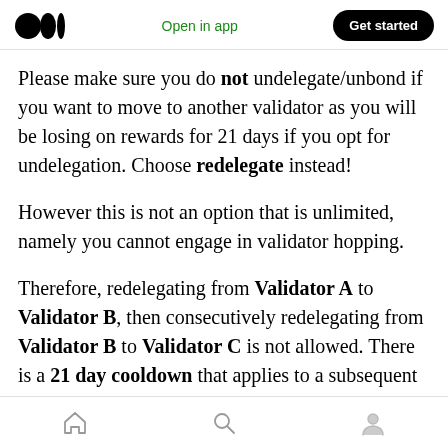Open in app | Get started
Please make sure you do not undelegate/unbond if you want to move to another validator as you will be losing on rewards for 21 days if you opt for undelegation. Choose redelegate instead!
However this is not an option that is unlimited, namely you cannot engage in validator hopping.
Therefore, redelegating from Validator A to Validator B, then consecutively redelegating from Validator B to Validator C is not allowed. There is a 21 day cooldown that applies to a subsequent redelegations
Home | Search | Profile